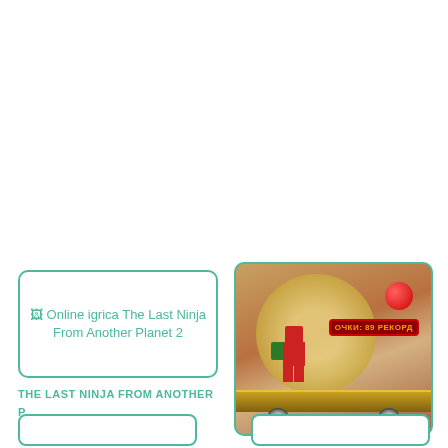[Figure (screenshot): Broken image placeholder card for 'Online igrica The Last Ninja From Another Planet 2' game thumbnail with teal border]
THE LAST NINJA FROM ANOTHER P
[Figure (screenshot): Game screenshot of Ninjago Jumping showing a red ninja character on a platform/vehicle with moon background and score display reading 'ОЧКИ: 89 РЕКОРД']
NINJAGO JUMPING